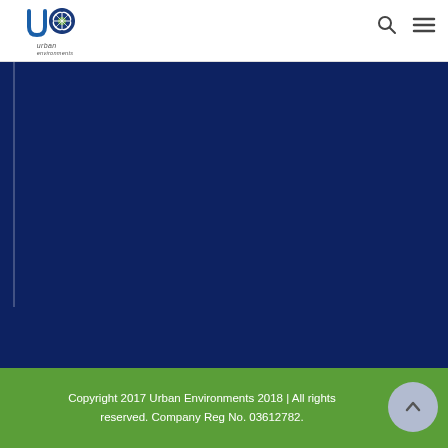Urban Environments logo, search icon, menu icon
[Figure (illustration): Dark navy blue background content area with a thin white vertical line on the left side]
Copyright 2017 Urban Environments 2018 | All rights reserved. Company Reg No. 03612782.